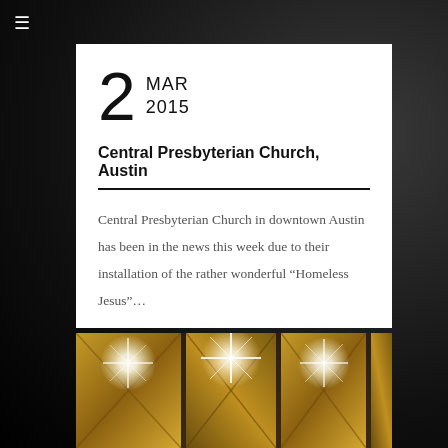≡
2 MAR 2015
Central Presbyterian Church, Austin
Central Presbyterian Church in downtown Austin has been in the news this week due to their installation of the rather wonderful “Homeless Jesus”…
[Figure (photo): Photo of wooden church interior panels with bright star-burst light flare effects visible]